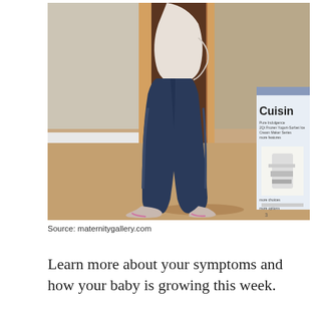[Figure (photo): A pregnant woman standing in profile view, wearing dark blue jeans, a white top, and pink and white sneakers. She is standing in a carpeted room near a doorframe. On the right side of the image, a Cuisinart appliance box is partially visible.]
Source: maternitygallery.com
Learn more about your symptoms and how your baby is growing this week.